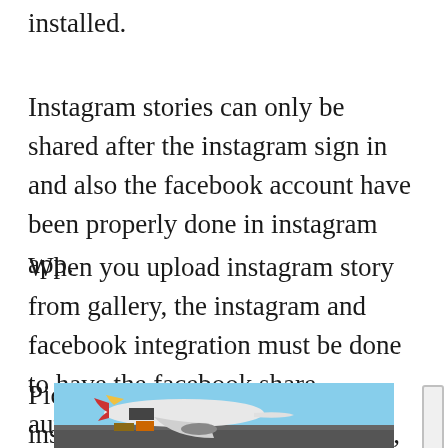installed.
Instagram stories can only be shared after the instagram sign in and also the facebook account have been properly done in instagram app.
When you upload instagram story from gallery, the instagram and facebook integration must be done to have the facebook share automatically.
Pictures from facebook to instagram in story cannot be done, same as upload photos from facebook to instagram is not possible, only the
[Figure (photo): Advertisement banner showing cargo airplane being loaded, with text overlay reading 'WITHOUT REGARD TO POLITICS, RELIGION, OR ABILITY TO PAY']